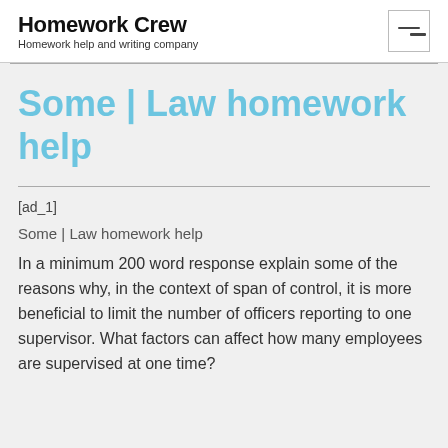Homework Crew
Homework help and writing company
Some | Law homework help
[ad_1]
Some | Law homework help
In a minimum 200 word response explain some of the reasons why, in the context of span of control, it is more beneficial to limit the number of officers reporting to one supervisor. What factors can affect how many employees are supervised at one time?